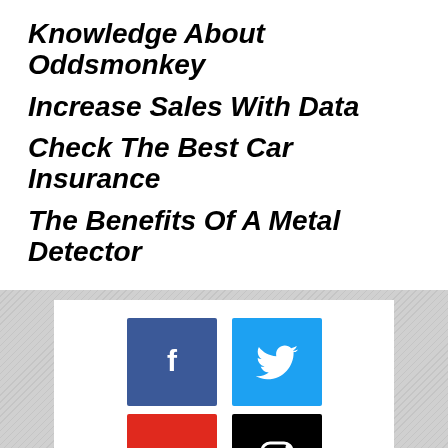Knowledge About Oddsmonkey
Increase Sales With Data
Check The Best Car Insurance
The Benefits Of A Metal Detector
[Figure (infographic): Social media icon buttons: Facebook (blue), Twitter (light blue), YouTube (red), Instagram (black)]